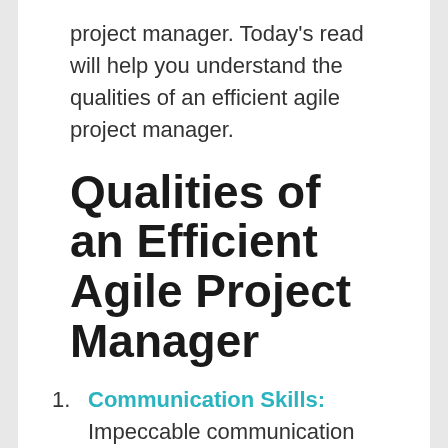project manager. Today's read will help you understand the qualities of an efficient agile project manager.
Qualities of an Efficient Agile Project Manager
Communication Skills: Impeccable communication skills are one of the major characteristics of a good agile project manager. Someone who